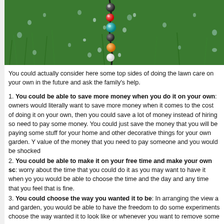[Figure (photo): Close-up photo of colorful marbles or beads on wet green grass with water droplets]
You could actually consider here some top sides of doing the lawn care on your own in the future and ask the family's help.
1. You could be able to save more money when you do it on your own: owners would literally want to save more money when it comes to the cost of doing it on your own, then you could save a lot of money instead of hiring so need to pay some money. You could just save the money that you will be paying some stuff for your home and other decorative things for your own garden. You value of the money that you need to pay someone and you would be shocked
2. You could be able to make it on your free time and make your own schedule: worry about the time that you could do it as you may want to have it when you you would be able to choose the time and the day and any time that you feel that is fine.
3. You could choose the way you wanted it to be: In arranging the view and garden, you would be able to have the freedom to do some experiments and choose the way wanted it to look like or whenever you want to remove some
4. You could benefit from it as it would be your form of exercise: The